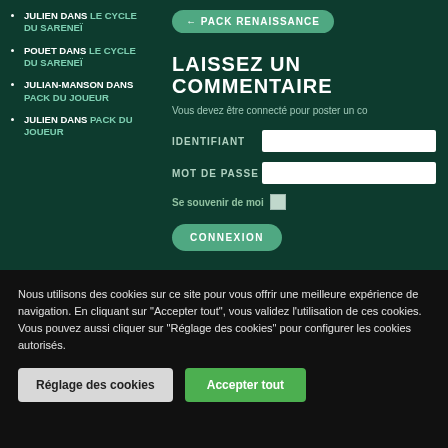JULIEN DANS LE CYCLE DU SARENEÏ
POUET DANS LE CYCLE DU SARENEÏ
JULIAN-MANSON DANS PACK DU JOUEUR
JULIEN DANS PACK DU JOUEUR
← PACK RENAISSANCE
LAISSEZ UN COMMENTAIRE
Vous devez être connecté pour poster un co
IDENTIFIANT
MOT DE PASSE
Se souvenir de moi
CONNEXION
Nous utilisons des cookies sur ce site pour vous offrir une meilleure expérience de navigation. En cliquant sur "Accepter tout", vous validez l'utilisation de ces cookies. Vous pouvez aussi cliquer sur "Réglage des cookies" pour configurer les cookies autorisés.
Réglage des cookies
Accepter tout